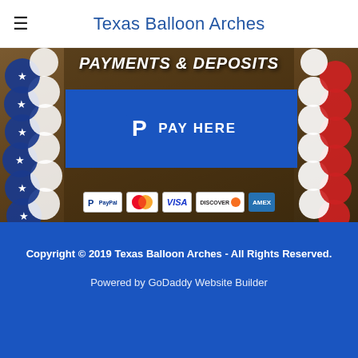Texas Balloon Arches
[Figure (photo): Hero banner showing balloon arch columns (blue/star on left, red/white on right) with text PAYMENTS & DEPOSITS and PayPal payment button with payment logos]
Copyright © 2019 Texas Balloon Arches - All Rights Reserved.
Powered by GoDaddy Website Builder